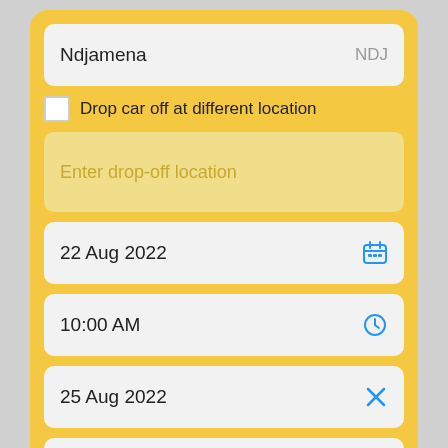Ndjamena NDJ
Drop car off at different location
Enter drop-off location
22 Aug 2022
10:00 AM
25 Aug 2022
10:00 AM
Search